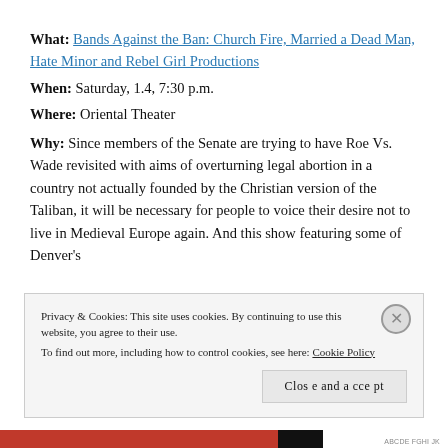What: Bands Against the Ban: Church Fire, Married a Dead Man, Hate Minor and Rebel Girl Productions
When: Saturday, 1.4, 7:30 p.m.
Where: Oriental Theater
Why: Since members of the Senate are trying to have Roe Vs. Wade revisited with aims of overturning legal abortion in a country not actually founded by the Christian version of the Taliban, it will be necessary for people to voice their desire not to live in Medieval Europe again. And this show featuring some of Denver's
Privacy & Cookies: This site uses cookies. By continuing to use this website, you agree to their use.
To find out more, including how to control cookies, see here: Cookie Policy